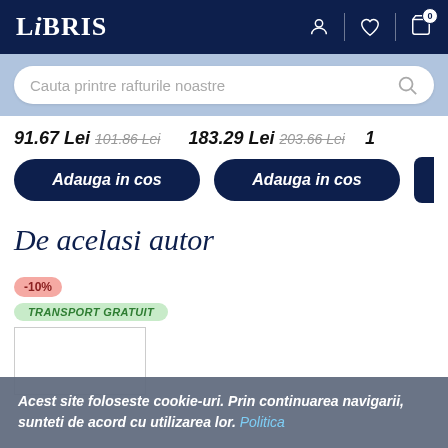LIBRIS
Cauta printre rafturile noastre
91.67 Lei 101.86 Lei   183.29 Lei 203.66 Lei   1
Adauga in cos   Adauga in cos
De acelasi autor
-10%
TRANSPORT GRATUIT
Acest site foloseste cookie-uri. Prin continuarea navigarii, sunteti de acord cu utilizarea lor. Politica